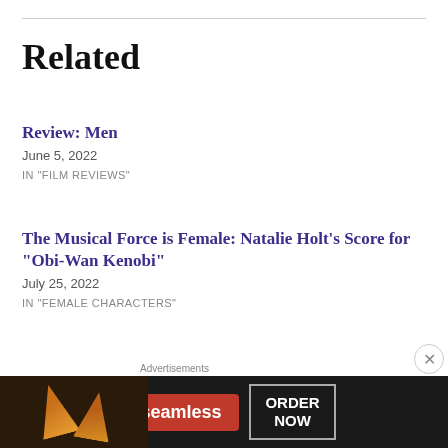Related
Review: Men
June 5, 2022
IN "FILM REVIEWS"
The Musical Force is Female: Natalie Holt's Score for “Obi-Wan Kenobi”
July 25, 2022
IN "FEMALE CHARACTERS"
Ukraine: More Than Just A News Headline
[Figure (other): Seamless food delivery advertisement banner with pizza image, Seamless red logo, and ORDER NOW button]